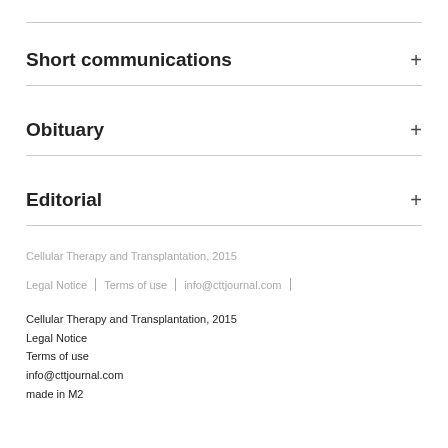Short communications
Obituary
Editorial
Cellular Therapy and Transplantation, 2015
Legal Notice | Terms of use | info@cttjournal.com |
Cellular Therapy and Transplantation, 2015
Legal Notice
Terms of use
info@cttjournal.com
made in M2